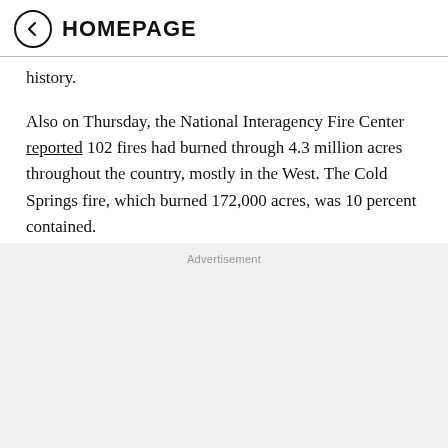HOMEPAGE
history.
Also on Thursday, the National Interagency Fire Center reported 102 fires had burned through 4.3 million acres throughout the country, mostly in the West. The Cold Springs fire, which burned 172,000 acres, was 10 percent contained.
Advertisement